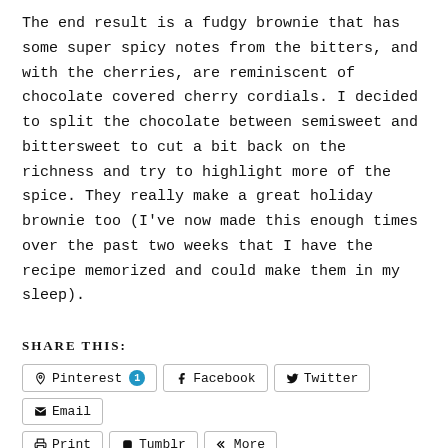The end result is a fudgy brownie that has some super spicy notes from the bitters, and with the cherries, are reminiscent of chocolate covered cherry cordials. I decided to split the chocolate between semisweet and bittersweet to cut a bit back on the richness and try to highlight more of the spice. They really make a great holiday brownie too (I've now made this enough times over the past two weeks that I have the recipe memorized and could make them in my sleep).
SHARE THIS:
Pinterest 1
Facebook
Twitter
Email
Print
Tumblr
More
LIKE THIS:
Loading